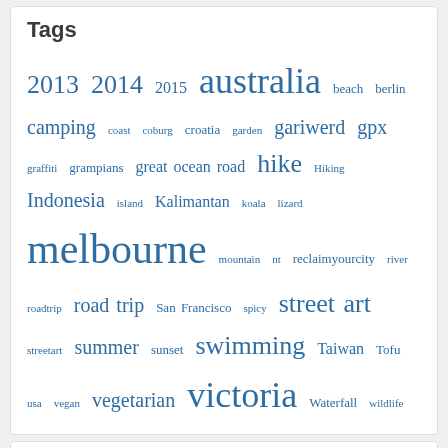Tags
2013 2014 2015 australia beach berlin camping coast coburg croatia garden gariwerd gpx graffiti grampians great ocean road hike Hiking Indonesia island Kalimantan koala lizard melbourne mountain nt reclaimyourcity river roadtrip road trip San Francisco spicy street art streetart summer sunset swimming Taiwan Tofu usa vegan vegetarian victoria Waterfall wildlife
Archives
April 2016 (2)
September 2015 (7)
August 2015 (1)
March 2015 (3)
February 2015 (2)